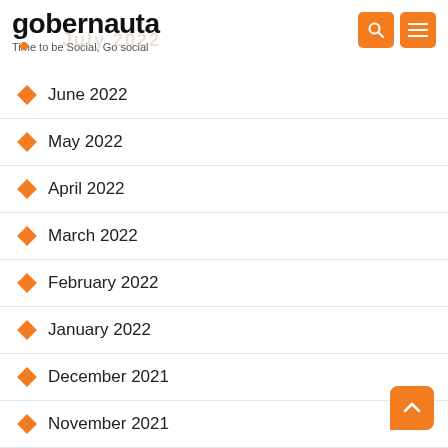gobernauta – Time to be Social, Go social
June 2022
May 2022
April 2022
March 2022
February 2022
January 2022
December 2021
November 2021
October 2021